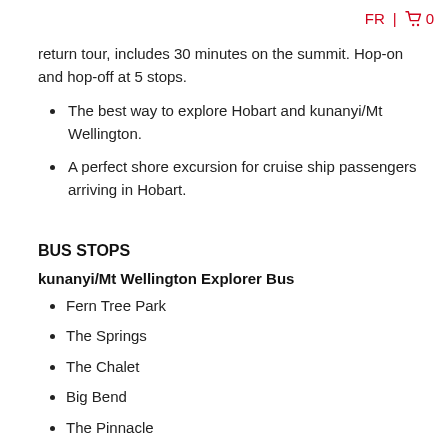FR | 🛒 0
return tour, includes 30 minutes on the summit. Hop-on and hop-off at 5 stops.
The best way to explore Hobart and kunanyi/Mt Wellington.
A perfect shore excursion for cruise ship passengers arriving in Hobart.
BUS STOPS
kunanyi/Mt Wellington Explorer Bus
Fern Tree Park
The Springs
The Chalet
Big Bend
The Pinnacle
Red Decker City Loop Tour